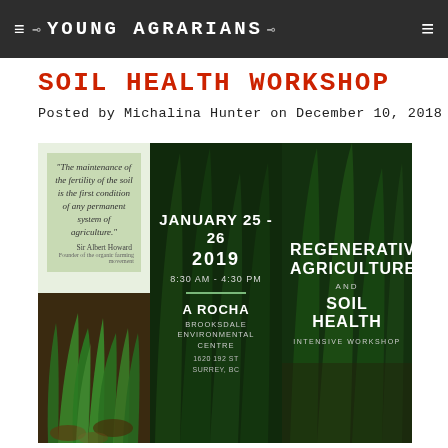YOUNG AGRARIANS
SOIL HEALTH WORKSHOP
Posted by Michalina Hunter on December 10, 2018
[Figure (photo): Composite workshop poster with three panels: (1) A green quote panel with text 'The maintenance of the fertility of the soil is the first condition of any permanent system of agriculture.' attributed to Sir Albert Howard, Founder of the organic farming movement, over a photo of grass/soil; (2) A dark green panel with event details: January 25-26, 2019, 8:30 AM - 4:30 PM, A Rocha, Brooksdale Environmental Centre, 1620 192 St, Surrey, BC; (3) A dark green panel with text: Regenerative Agriculture and Soil Health Intensive Workshop, over a photo of grass.]